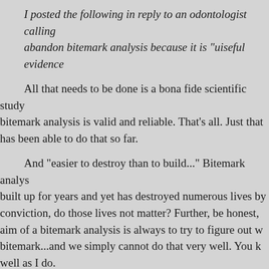I posted the following in reply to an odontologist calling abandon bitemark analysis because it is "uiseful evidence
All that needs to be done is a bona fide scientific study bitemark analysis is valid and reliable. That's all. Just that has been able to do that so far.
And "easier to destroy than to build..." Bitemark analys built up for years and yet has destroyed numerous lives by conviction, do those lives not matter? Further, be honest, aim of a bitemark analysis is always to try to figure out w bitemark...and we simply cannot do that very well. You k well as I do.
DNA? Ok sure, collect DNA from the injuries, but in a situation, what does that prove? Nothing much. A strange scenario is pretty much the only situation where DNA wo probative in these cases.